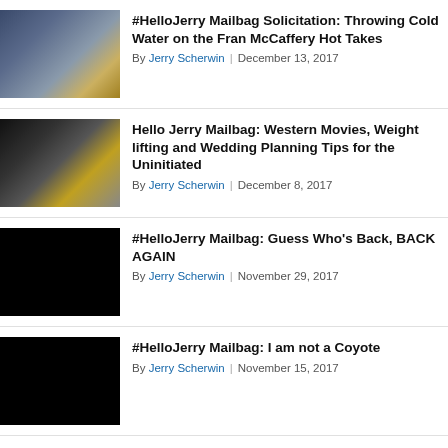[Figure (photo): Basketball coach in suit with yellow tie]
#HelloJerry Mailbag Solicitation: Throwing Cold Water on the Fran McCaffery Hot Takes
By Jerry Scherwin | December 13, 2017
[Figure (photo): Football players in black and gold uniforms, numbers 89, 43]
Hello Jerry Mailbag: Western Movies, Weight lifting and Wedding Planning Tips for the Uninitiated
By Jerry Scherwin | December 8, 2017
[Figure (photo): Black image placeholder]
#HelloJerry Mailbag: Guess Who's Back, BACK AGAIN
By Jerry Scherwin | November 29, 2017
[Figure (photo): Black image placeholder]
#HelloJerry Mailbag: I am not a Coyote
By Jerry Scherwin | November 15, 2017